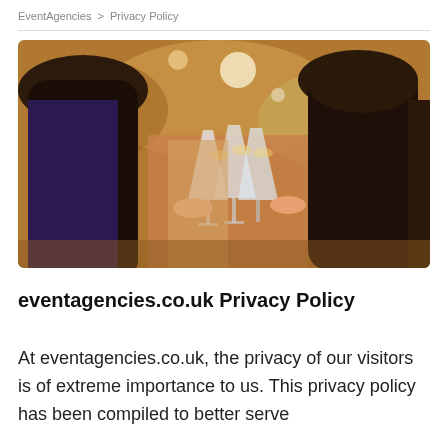EventAgencies  >  Privacy Policy
[Figure (photo): Photo of women clinking champagne glasses at a celebration event, seen from behind, warm indoor lighting]
eventagencies.co.uk Privacy Policy
At eventagencies.co.uk, the privacy of our visitors is of extreme importance to us. This privacy policy has been compiled to better serve